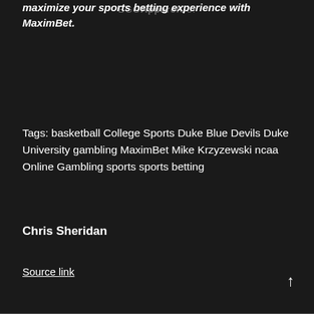BGO Apparel Co.
maximize your sports betting experience with MaximBet.
Tags: basketball College Sports Duke Blue Devils Duke University gambling MaximBet Mike Krzyzewski ncaa Online Gambling sports sports betting
Chris Sheridan
Source link